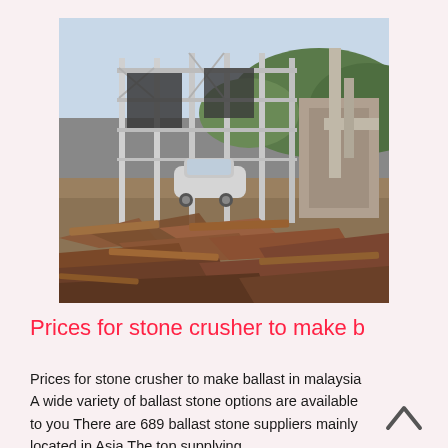[Figure (photo): Construction site with metal structural framework and columns under construction, debris and scrap metal/wood in foreground, a silver car parked in the middle ground, green hills in background, overcast sky.]
Prices for stone crusher to make b
Prices for stone crusher to make ballast in malaysia A wide variety of ballast stone options are available to you There are 689 ballast stone suppliers mainly located in Asia The top supplying...